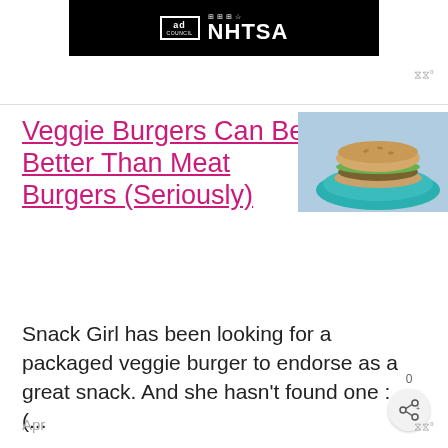[Figure (logo): Ad Council and NHTSA logo on black background banner]
Veggie Burgers Can Be Better Than Meat Burgers (Seriously)
[Figure (photo): Photo of a veggie burger on a blue plate]
Snack Girl has been looking for a packaged veggie burger to endorse as a great snack. And she hasn't found one :(...
Apr